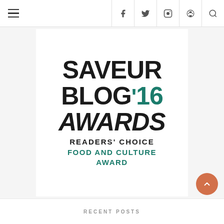Navigation bar with hamburger menu and social icons: Facebook, Twitter, Instagram, Pinterest, Search
[Figure (logo): Saveur Blog '16 Awards – Readers' Choice Food and Culture Award badge. Black bold text reading SAVEUR on top, then BLOG '16 (with '16 in teal/dark green), then AWARDS in bold italic, then READERS' CHOICE in black, then FOOD AND CULTURE AWARD in teal/dark green, all on white background.]
RECENT POSTS